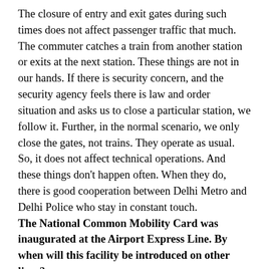The closure of entry and exit gates during such times does not affect passenger traffic that much. The commuter catches a train from another station or exits at the next station. These things are not in our hands. If there is security concern, and the security agency feels there is law and order situation and asks us to close a particular station, we follow it. Further, in the normal scenario, we only close the gates, not trains. They operate as usual. So, it does not affect technical operations. And these things don't happen often. When they do, there is good cooperation between Delhi Metro and Delhi Police who stay in constant touch.
The National Common Mobility Card was inaugurated at the Airport Express Line. By when will this facility be introduced on other lines?
We have a target to implement this on the entire metro corridor by December 2021. The bidding and tendering process is on. Once the agency and everything else is finalised, we will discuss in detail how to implement it.